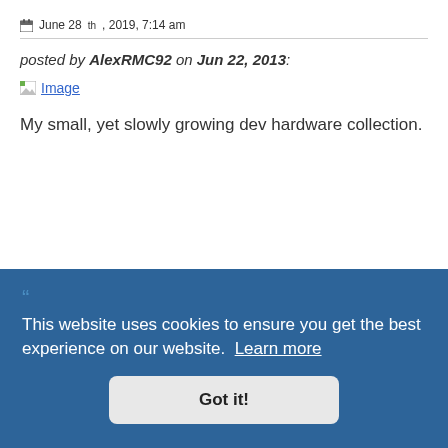June 28th, 2019, 7:14 am
posted by AlexRMC92 on Jun 22, 2013:
[Figure (other): Broken image placeholder icon with link labeled 'Image']
My small, yet slowly growing dev hardware collection.
This website uses cookies to ensure you get the best experience on our website. Learn more
Got it!